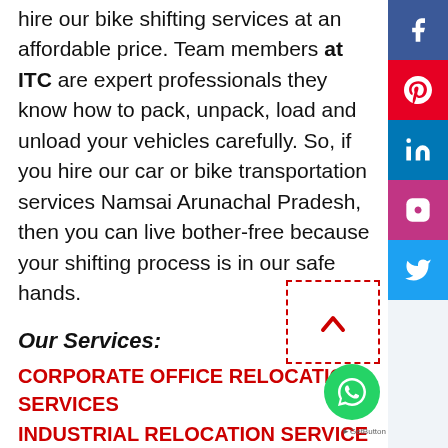hire our bike shifting services at an affordable price. Team members at ITC are expert professionals they know how to pack, unpack, load and unload your vehicles carefully. So, if you hire our car or bike transportation services Namsai Arunachal Pradesh, then you can live bother-free because your shifting process is in our safe hands.
Our Services:
CORPORATE OFFICE RELOCATION SERVICES
INDUSTRIAL RELOCATION SERVICE
HOME SHIFTING SERVICES
HOUSE RELOCATION SERVICES
HOUSEHOLD GOODS SHIFTING SERVICES
PACKERS AND MOVERS SERVICES